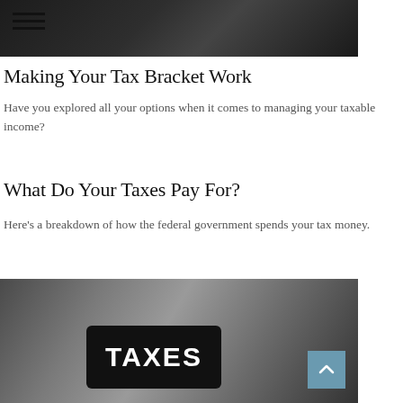[Figure (photo): Dark image at the top of the page, partially visible, appears to be a person in a dark setting]
Making Your Tax Bracket Work
Have you explored all your options when it comes to managing your taxable income?
What Do Your Taxes Pay For?
Here's a breakdown of how the federal government spends your tax money.
[Figure (photo): Photo of a person at a desk with a laptop and papers. A sign reading TAXES is prominently displayed in the center of the image.]